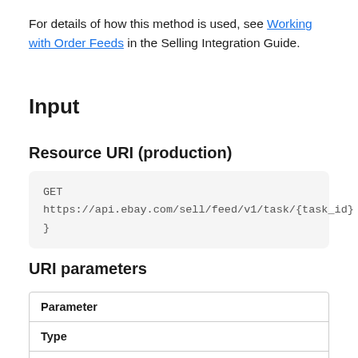For details of how this method is used, see Working with Order Feeds in the Selling Integration Guide.
Input
Resource URI (production)
GET
https://api.ebay.com/sell/feed/v1/task/{task_id}
}
URI parameters
| Parameter |  |
| --- | --- |
| Parameter |  |
| Type |  |
| Description |  |